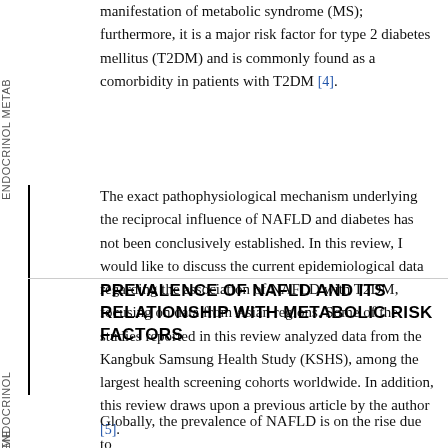manifestation of metabolic syndrome (MS); furthermore, it is a major risk factor for type 2 diabetes mellitus (T2DM) and is commonly found as a comorbidity in patients with T2DM [4]. The exact pathophysiological mechanism underlying the reciprocal influence of NAFLD and diabetes has not been conclusively established. In this review, I would like to discuss the current epidemiological data regarding the association of NAFLD with T2DM, focusing on data from Asian regions. Some of the studies reported in this review analyzed data from the Kangbuk Samsung Health Study (KSHS), among the largest health screening cohorts worldwide. In addition, this review draws upon a previous article by the author [5].
PREVALENCE OF NAFLD AND ITS RELATIONSHIP WITH METABOLIC RISK FACTORS
Globally, the prevalence of NAFLD is on the rise due to